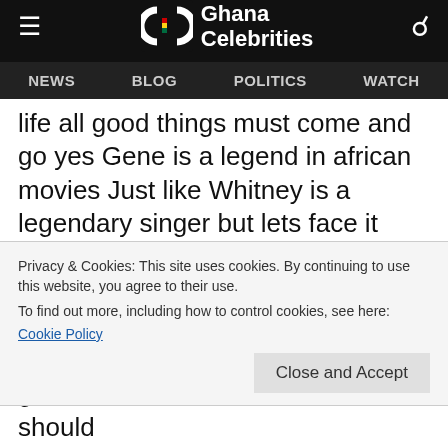Ghana Celebrities — NEWS | BLOG | POLITICS | WATCH
life all good things must come and go yes Gene is a legend in african movies Just like Whitney is a legendary singer but lets face it their time has come and gone and they should quietly enjoy in their retirement homes. Look online its all about Jackie whether she is pretty or not . And what make u think that she might not get
Privacy & Cookies: This site uses cookies. By continuing to use this website, you agree to their use.
To find out more, including how to control cookies, see here:
Cookie Policy
gives and takes as humans we should